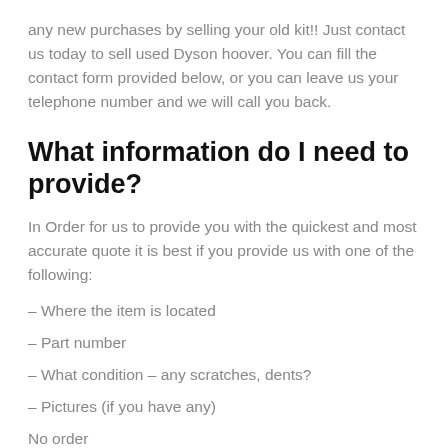any new purchases by selling your old kit!! Just contact us today to sell used Dyson hoover. You can fill the contact form provided below, or you can leave us your telephone number and we will call you back.
What information do I need to provide?
In Order for us to provide you with the quickest and most accurate quote it is best if you provide us with one of the following:
– Where the item is located
– Part number
– What condition – any scratches, dents?
– Pictures (if you have any)
No order —